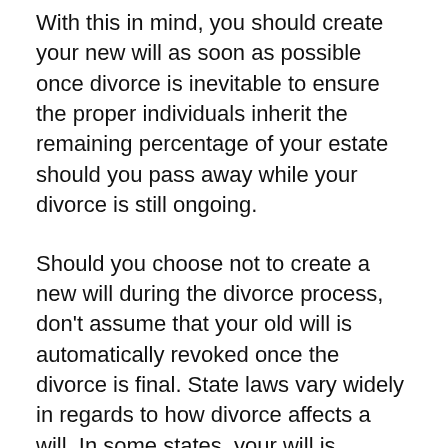With this in mind, you should create your new will as soon as possible once divorce is inevitable to ensure the proper individuals inherit the remaining percentage of your estate should you pass away while your divorce is still ongoing.
Should you choose not to create a new will during the divorce process, don't assume that your old will is automatically revoked once the divorce is final. State laws vary widely in regards to how divorce affects a will. In some states, your will is revoked by default upon divorce. In others, unless it's officially revoked, your entire will —